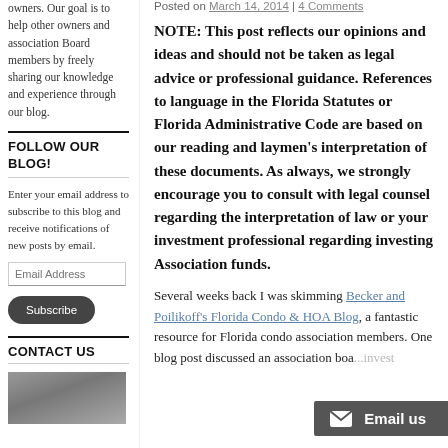owners. Our goal is to help other owners and association Board members by freely sharing our knowledge and experience through our blog.
FOLLOW OUR BLOG!
Enter your email address to subscribe to this blog and receive notifications of new posts by email.
CONTACT US
[Figure (photo): Photo of person(s) in sidebar]
Posted on March 14, 2014 | 4 Comments
NOTE: This post reflects our opinions and ideas and should not be taken as legal advice or professional guidance. References to language in the Florida Statutes or Florida Administrative Code are based on our reading and laymen's interpretation of these documents. As always, we strongly encourage you to consult with legal counsel regarding the interpretation of law or your investment professional regarding investing Association funds.
Several weeks back I was skimming Becker and Poilikoff's Florida Condo & HOA Blog, a fantastic resource for Florida condo association members. One blog post discussed an association boa... invest